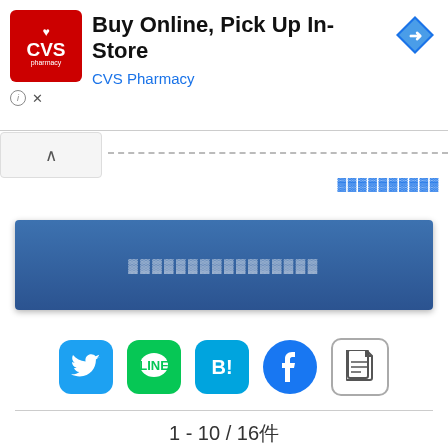[Figure (screenshot): CVS Pharmacy advertisement banner with logo, title 'Buy Online, Pick Up In-Store', subtitle 'CVS Pharmacy', and a blue navigation arrow icon]
[Figure (screenshot): Collapse/accordion button with up arrow, dotted line separator, and a link row with underlined text]
[Figure (screenshot): Blue gradient banner button with placeholder text]
[Figure (screenshot): Social sharing icons row: Twitter, LINE, Hatena Bookmark, Facebook, Note]
1 - 10 / 16件